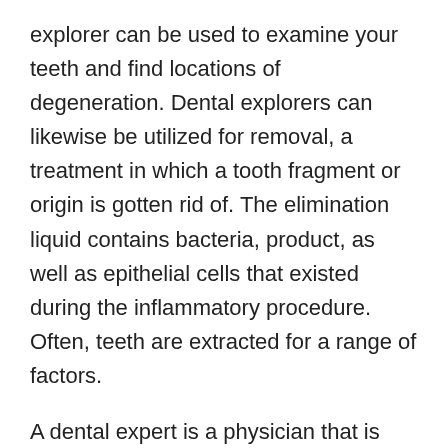explorer can be used to examine your teeth and find locations of degeneration. Dental explorers can likewise be utilized for removal, a treatment in which a tooth fragment or origin is gotten rid of. The elimination liquid contains bacteria, product, as well as epithelial cells that existed during the inflammatory procedure. Often, teeth are extracted for a range of factors.
A dental expert is a physician that is trained in the medical diagnosis and also therapy of dental illness. A dentist can practice basic dentistry or a particular specialty in one of 9 areas. Advancements in oral research have resulted in brand-new techniques in the field, including using genetic engineering, web links in between dental and also systemic conditions,